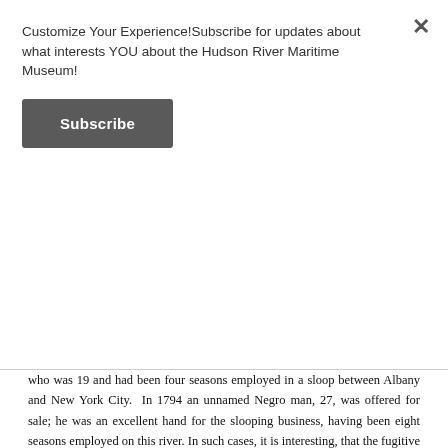Customize Your Experience!Subscribe for updates about what interests YOU about the Hudson River Maritime Museum!
Subscribe
who was 19 and had been four seasons employed in a sloop between Albany and New York City. In 1794 an unnamed Negro man, 27, was offered for sale; he was an excellent hand for the slooping business, having been eight seasons employed on this river. In such cases, it is interesting, that the fugitive is richly, if briefly, described, while the owner, ironically is a blank, except for the name.
A warmer glimpse comes from a diary kept by an Englishman who travelled to Niagara Falls in 1800. The crew of the sloop he travelled on included Nicholas, a free Black acting as steward, cook, cabin-boy, &c. who